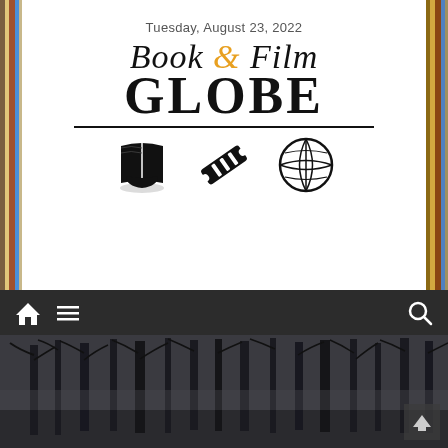Tuesday, August 23, 2022
[Figure (logo): Book & Film Globe logo with book, ticket, and globe icons]
[Figure (screenshot): Dark navigation bar with home icon, hamburger menu icon, and search icon on dark background]
[Figure (photo): Dark moody black and white photograph of bare winter trees in a forest]